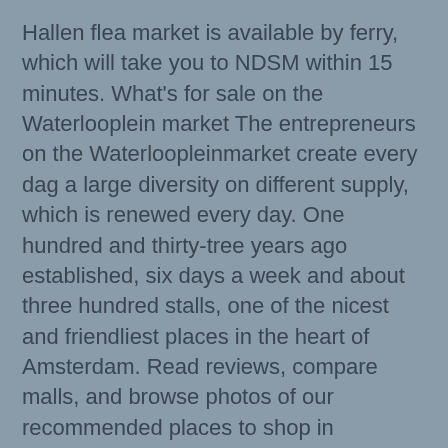Hallen flea market is available by ferry, which will take you to NDSM within 15 minutes. What's for sale on the Waterlooplein market The entrepreneurs on the Waterloopleinmarket create every dag a large diversity on different supply, which is renewed every day. One hundred and thirty-tree years ago established, six days a week and about three hundred stalls, one of the nicest and friendliest places in the heart of Amsterdam. Read reviews, compare malls, and browse photos of our recommended places to shop in Amsterdam on Tripadvisor. Souvenir Shopping in Amsterdam: 20 Dutch Things To Buy. Albert Cuyp Market: Great shopping! Elbow your way through the shopping crowd on Saturday afternoon. The famous Albert Cuypmarkt offers a variety of different products, ranging from exotic fruit stalls to old-fashioned Dutch fish stalls. Amsterdam » Shopping » Streets. The ferry is free of charge and leaves from behind Central Station (look for the ferry that says NDSM). This Amsterdam souvenir